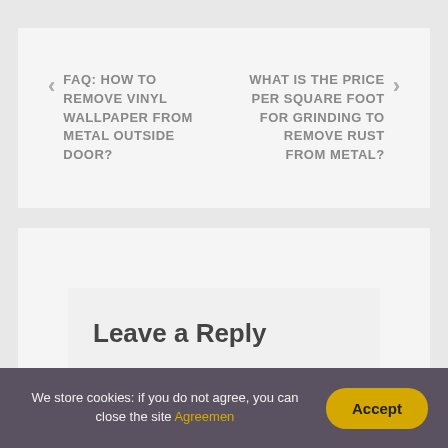< FAQ: HOW TO REMOVE VINYL WALLPAPER FROM METAL OUTSIDE DOOR?    WHAT IS THE PRICE PER SQUARE FOOT FOR GRINDING TO REMOVE RUST FROM METAL? >
Leave a Reply
Your email address will not be published.
We store cookies: if you do not agree, you can close the site Agreemen    Accept